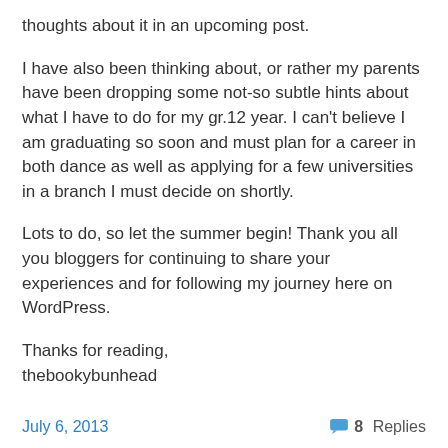thoughts about it in an upcoming post.
I have also been thinking about, or rather my parents have been dropping some not-so subtle hints about what I have to do for my gr.12 year. I can't believe I am graduating so soon and must plan for a career in both dance as well as applying for a few universities in a branch I must decide on shortly.
Lots to do, so let the summer begin! Thank you all you bloggers for continuing to share your experiences and for following my journey here on WordPress.
Thanks for reading,
thebookybunhead
July 6, 2013    8 Replies